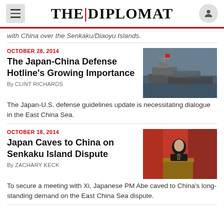THE|DIPLOMAT
with China over the Senkaku/Diaoyu Islands.
OCTOBER 28, 2014 — The Japan-China Defense Hotline's Growing Importance — By CLINT RICHARDS — The Japan-U.S. defense guidelines update is necessitating dialogue in the East China Sea.
OCTOBER 18, 2014 — Japan Caves to China on Senkaku Island Dispute — By ZACHARY KECK — To secure a meeting with Xi, Japanese PM Abe caved to China's long-standing demand on the East China Sea dispute.